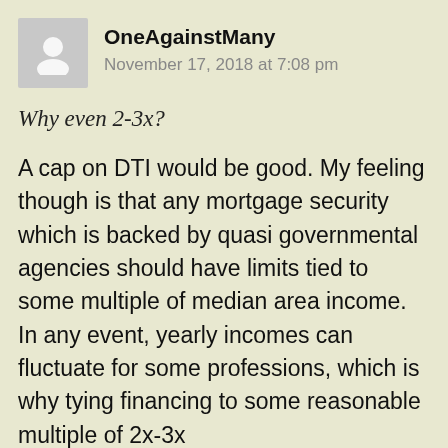OneAgainstMany
November 17, 2018 at 7:08 pm
Why even 2-3x?
A cap on DTI would be good. My feeling though is that any mortgage security which is backed by quasi governmental agencies should have limits tied to some multiple of median area income. In any event, yearly incomes can fluctuate for some professions, which is why tying financing to some reasonable multiple of 2x-3x could be a starting place.